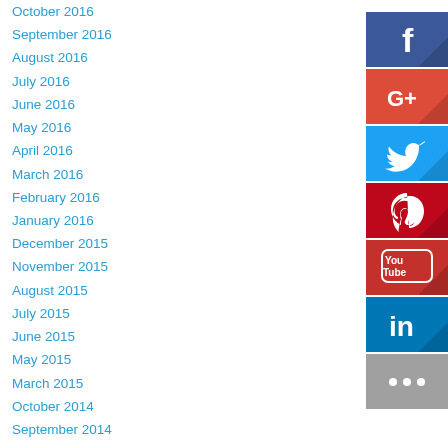October 2016
September 2016
August 2016
July 2016
June 2016
May 2016
April 2016
March 2016
February 2016
January 2016
December 2015
November 2015
August 2015
July 2015
June 2015
May 2015
March 2015
October 2014
September 2014
July 2014
January 2014
[Figure (infographic): Social media icon buttons column: Facebook (blue), Google+ (red), Twitter (light blue), Pinterest (dark red), YouTube (red), LinkedIn (blue), More/ellipsis (gray)]